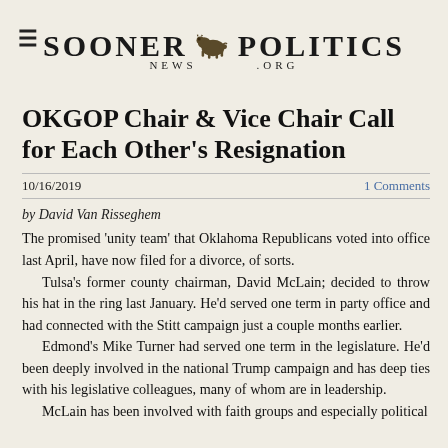Sooner Politics News .org
OKGOP Chair & Vice Chair Call for Each Other's Resignation
10/16/2019   1 Comments
by David Van Risseghem
The promised 'unity team' that Oklahoma Republicans voted into office last April, have now filed for a divorce, of sorts.
  Tulsa's former county chairman, David McLain; decided to throw his hat in the ring last January. He'd served one term in party office and had connected with the Stitt campaign just a couple months earlier.
  Edmond's Mike Turner had served one term in the legislature. He'd been deeply involved in the national Trump campaign and has deep ties with his legislative colleagues, many of whom are in leadership.
  McLain has been involved with faith groups and especially political